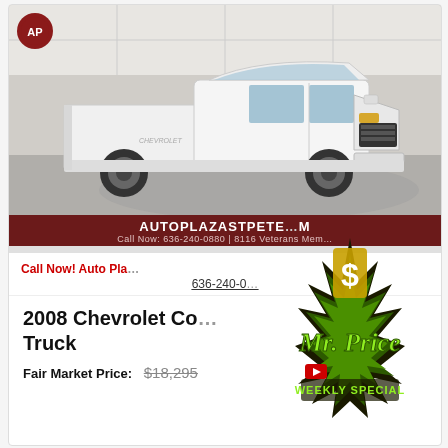[Figure (photo): White 2008 Chevrolet Colorado pickup truck photographed in a dealership showroom with tiled floor, displayed at a three-quarter front angle. Auto Plaza dealer logo (AP in a red circle) visible in upper left corner of the photo.]
AUTOPLAZASTPETE...M
Call Now: 636-240-0880 | 8116 Veterans Mem...
Call Now! Auto Pla...
636-240-0...
[Figure (logo): Mr. Price Weekly Special badge - green and black starburst with dollar sign graphic and text 'Mr. Price WEEKLY SPECIAL' with YouTube icon]
2008 Chevrolet Co... Truck
Fair Market Price:
$18,295